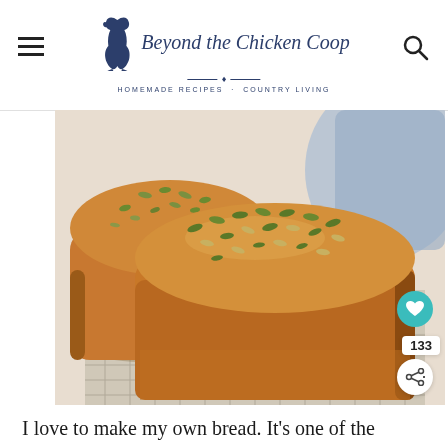Beyond the Chicken Coop — Homemade Recipes · Country Living
[Figure (photo): Two golden-brown seeded bread loaves topped with pumpkin seeds and sesame seeds, cooling on a wire rack with a blue cloth in the background.]
I love to make my own bread. It's one of the things I do for joy. A few years ago I also decided